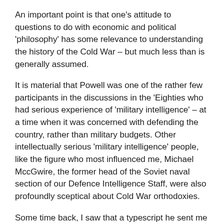An important point is that one's attitude to questions to do with economic and political 'philosophy' has some relevance to understanding the history of the Cold War – but much less than is generally assumed.
It is material that Powell was one of the rather few participants in the discussions in the 'Eighties who had serious experience of 'military intelligence' – at a time when it was concerned with defending the country, rather than military budgets. Other intellectually serious 'military intelligence' people, like the figure who most influenced me, Michael MccGwire, the former head of the Soviet naval section of our Defence Intelligence Staff, were also profoundly sceptical about Cold War orthodoxies.
Some time back, I saw that a typescript he sent me not long after it was finalised, in July 1987, had appeared on the internet. I would be interested in what someone like